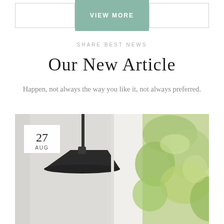VIEW MORE
SHARE BEST NEWS
Our New Article
Happen, not always the way you like it, not always preferred.
[Figure (photo): A photo of a dark pendant lamp with a wide conical shade, a white window frame, and lush green foliage in the background. A date badge showing '27 AUG' overlays the top-left of the image.]